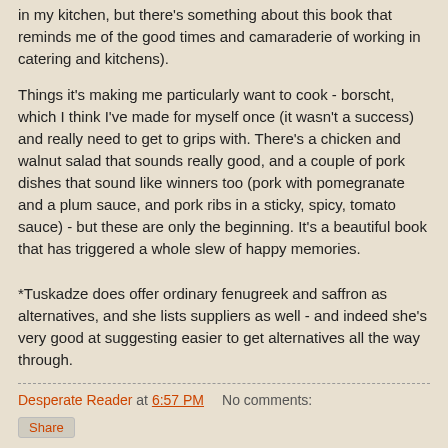in my kitchen, but there's something about this book that reminds me of the good times and camaraderie of working in catering and kitchens).
Things it's making me particularly want to cook - borscht, which I think I've made for myself once (it wasn't a success) and really need to get to grips with. There's a chicken and walnut salad that sounds really good, and a couple of pork dishes that sound like winners too (pork with pomegranate and a plum sauce, and pork ribs in a sticky, spicy, tomato sauce) - but these are only the beginning. It's a beautiful book that has triggered a whole slew of happy memories.
*Tuskadze does offer ordinary fenugreek and saffron as alternatives, and she lists suppliers as well - and indeed she's very good at suggesting easier to get alternatives all the way through.
Desperate Reader at 6:57 PM    No comments:
Share